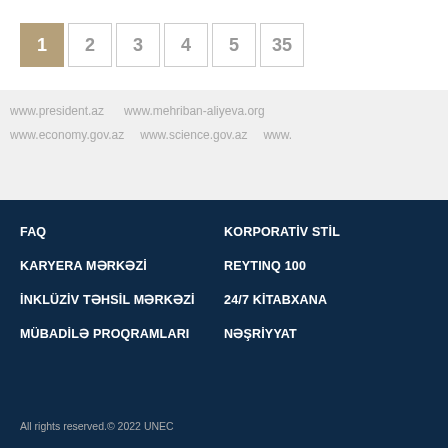1 2 3 4 5 35 (pagination)
www.president.az   www.mehriban-aliyeva.org
www.economy.gov.az   www.science.gov.az   www...
FAQ
KORPORATİV STİL
KARYERA MƏRKƏZİ
REYTINQ 100
İNKLÜZİV TƏHSİL MƏRKƏZİ
24/7 KİTABXANA
MÜBADİLƏ PROQRAMLARI
NƏŞRİYYAT
All rights reserved.© 2022 UNEC